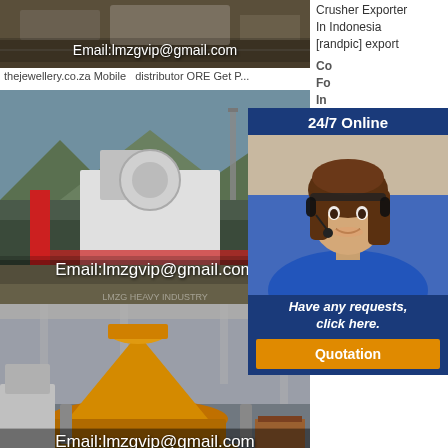[Figure (photo): Mining/quarry machinery image with email overlay showing Email:lmzgvip@gmail.com]
thejewellery.co.za Mobile  distributor ORE Get P...
[Figure (photo): Large industrial crusher/mining plant equipment with Email:lmzgvip@gmail.com overlay]
[Figure (photo): Yellow cone crusher in factory with Email:lmzgvip@gmail.com overlay]
Crusher Exporter In Indonesia [randpic] export
[Figure (infographic): 24/7 Online chat widget with woman wearing headset, 'Have any requests, click here.' tagline and Quotation button]
Co... Fo... In... G... Fr... Ai... pr... pu... di... Ja... H...
Equipment, Used Construction Machinery
Tripodal Piling Rig. DH308, DH408, DH508